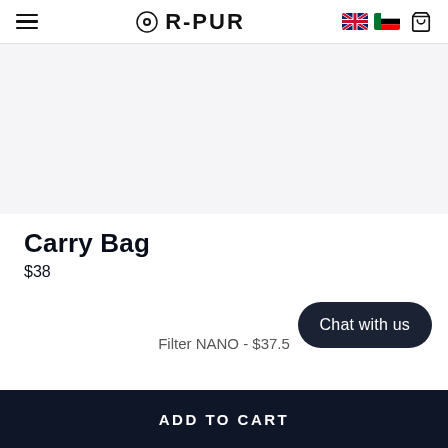R-PUR
[Figure (photo): Product image area for Carry Bag — light grey background placeholder]
Carry Bag
$38
Filter NANO - $37.5
Chat with us
ADD TO CART